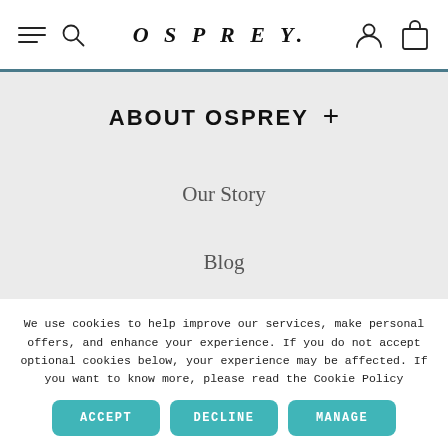OSPREY navigation bar with hamburger menu, search icon, OSPREY logo, user icon, and bag icon
ABOUT OSPREY +
Our Story
Blog
We use cookies to help improve our services, make personal offers, and enhance your experience. If you do not accept optional cookies below, your experience may be affected. If you want to know more, please read the Cookie Policy
ACCEPT | DECLINE | MANAGE